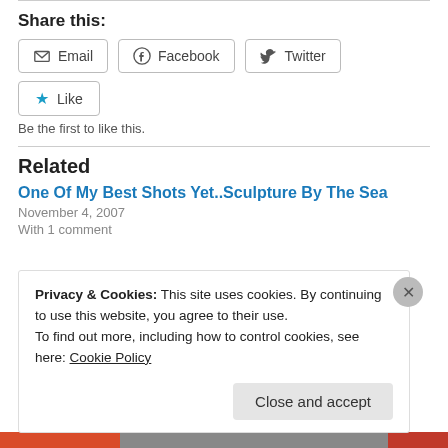Share this:
Email  Facebook  Twitter
★ Like
Be the first to like this.
Related
One Of My Best Shots Yet..Sculpture By The Sea
November 4, 2007
With 1 comment
Privacy & Cookies: This site uses cookies. By continuing to use this website, you agree to their use.
To find out more, including how to control cookies, see here: Cookie Policy
Close and accept